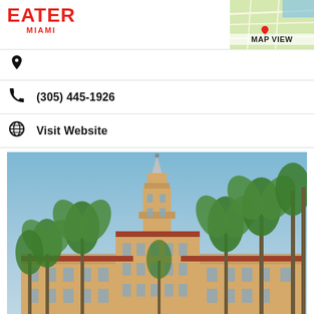EATER MIAMI
(305) 445-1926
Visit Website
[Figure (photo): Exterior photo of a large Mediterranean/Spanish Revival style hotel or historic building with a tall ornate tower, surrounded by tall palm trees under a blue sky. The building has terracotta roofing and cream/yellow stucco walls.]